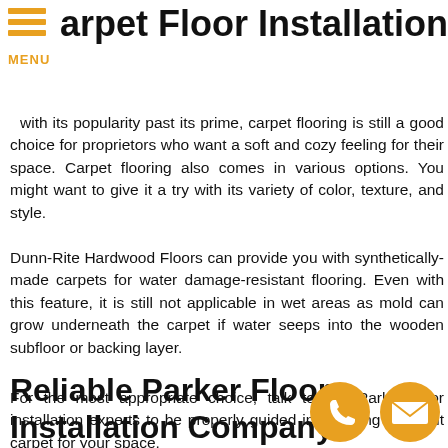Carpet Floor Installation
with its popularity past its prime, carpet flooring is still a good choice for proprietors who want a soft and cozy feeling for their space. Carpet flooring also comes in various options. You might want to give it a try with its variety of color, texture, and style.
Dunn-Rite Hardwood Floors can provide you with synthetically-made carpets for water damage-resistant flooring. Even with this feature, it is still not applicable in wet areas as mold can grow underneath the carpet if water seeps into the wooden subfloor or backing layer.
For the most appropriate choice, talk to our Parker floor installation experts to be properly guided in installing the right carpet for your space.
Reliable Parker Floor Installation Company